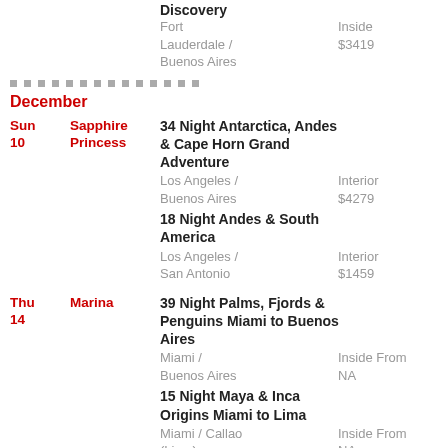Discovery
Fort Lauderdale / Buenos Aires   Inside $3419
December
Sun 10  Sapphire Princess  34 Night Antarctica, Andes & Cape Horn Grand Adventure  Los Angeles / Buenos Aires  Interior $4279
18 Night Andes & South America  Los Angeles / San Antonio  Interior $1459
Thu 14  Marina  39 Night Palms, Fjords & Penguins Miami to Buenos Aires  Miami / Buenos Aires  Inside From NA
15 Night Maya & Inca Origins Miami to Lima  Miami / Callao (Lima)  Inside From NA
Fri 15  Seven Seas Splendor  67 Night Circle South America Miami To Miami  Miami / Miami  Veranda Suite $41,099